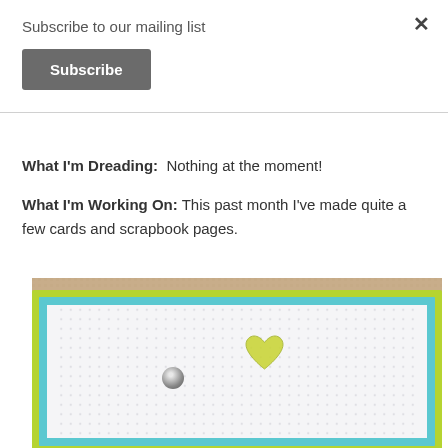Subscribe to our mailing list
Subscribe
What I'm Dreading:  Nothing at the moment!
What I'm Working On: This past month I've made quite a few cards and scrapbook pages.
[Figure (photo): A handmade card with a blue border, lime green outer layer, dot-pattern white inner panel, a metal brad fastener, and a yellow-green embossed heart stamp, photographed on a tan carpet background.]